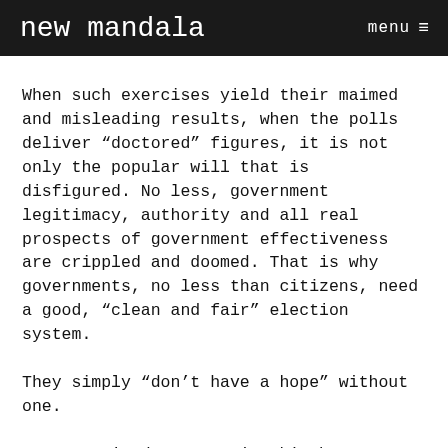new mandala   menu ≡
When such exercises yield their maimed and misleading results, when the polls deliver “doctored” figures, it is not only the popular will that is disfigured. No less, government legitimacy, authority and all real prospects of government effectiveness are crippled and doomed. That is why governments, no less than citizens, need a good, “clean and fair” election system.
They simply “don’t have a hope” without one.
Just as sin does not give birth to virtue, so tainted and illegitimate electoral mechanisms